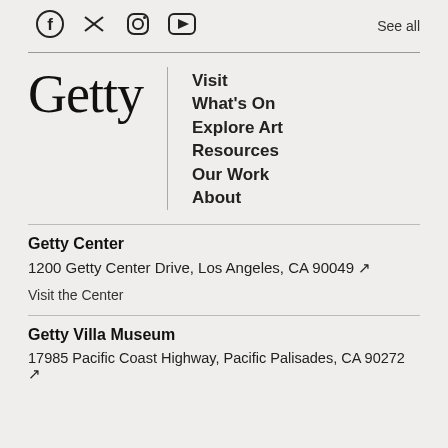[Figure (infographic): Social media icons: Facebook, Twitter, Instagram, YouTube, and 'See all' text link]
[Figure (logo): Getty logo in serif font]
Visit
What's On
Explore Art
Resources
Our Work
About
Getty Center
1200 Getty Center Drive, Los Angeles, CA 90049 ↗
Visit the Center
Getty Villa Museum
17985 Pacific Coast Highway, Pacific Palisades, CA 90272 ↗